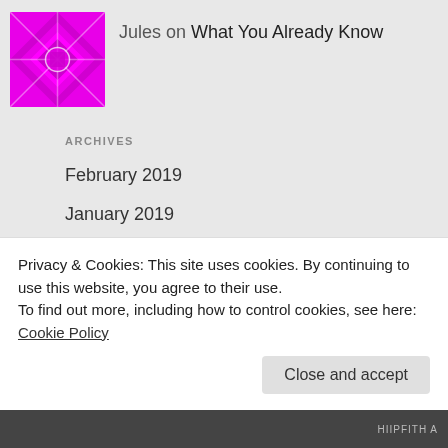[Figure (illustration): Magenta/pink quilted pattern avatar icon for user Jules]
Jules on What You Already Know
ARCHIVES
February 2019
January 2019
December 2018
November 2018
October 2018
Privacy & Cookies: This site uses cookies. By continuing to use this website, you agree to their use.
To find out more, including how to control cookies, see here: Cookie Policy
Close and accept